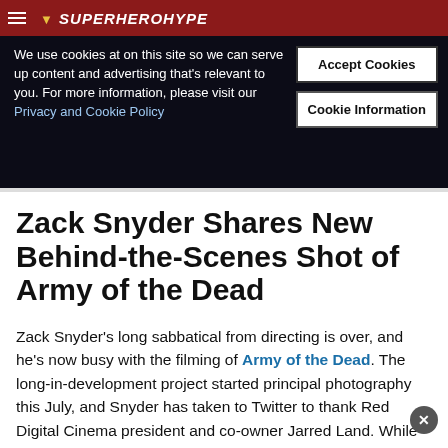SuperHeroHype
We use cookies at on this site so we can serve up content and advertising that's relevant to you. For more information, please visit our Privacy and Cookie Policy
Accept Cookies
Cookie Information
Zack Snyder Shares New Behind-the-Scenes Shot of Army of the Dead
Zack Snyder's long sabbatical from directing is over, and he's now busy with the filming of Army of the Dead. The long-in-development project started principal photography this July, and Snyder has taken to Twitter to thank Red Digital Cinema president and co-owner Jarred Land. While doing so, he also gave us all something new to look at. A behind-the-scenes shot features a couple of burned bodies, while the director is